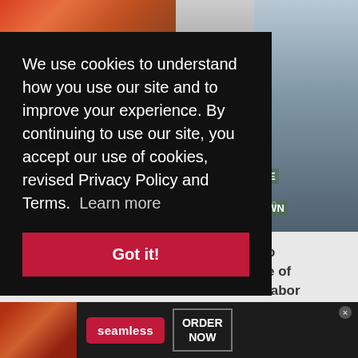[Figure (screenshot): Background news website with photo strips at top]
We use cookies to understand how you use our site and to improve your experience. By continuing to use our site, you accept our use of cookies, revised Privacy Policy and Terms.  Learn more
Got it!
e of labor
Sep 4, 2022
By Jamie Wiggan | Aug 31, 2022
[Figure (logo): AANWire.com logo in black and blue lettering]
[Figure (screenshot): Bottom advertisement: Seamless food delivery ORDER NOW with pizza image]